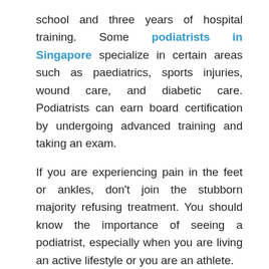school and three years of hospital training. Some podiatrists in Singapore specialize in certain areas such as paediatrics, sports injuries, wound care, and diabetic care. Podiatrists can earn board certification by undergoing advanced training and taking an exam.
If you are experiencing pain in the feet or ankles, don't join the stubborn majority refusing treatment. You should know the importance of seeing a podiatrist, especially when you are living an active lifestyle or you are an athlete.
What is a podiatrist?
Someone would seek the care of a podiatrist when they have suffered a foot injury or have common foot ailments such as heel spurs, bunions, arch problems, deformities, ingrown toenails, corns, foot and ankle